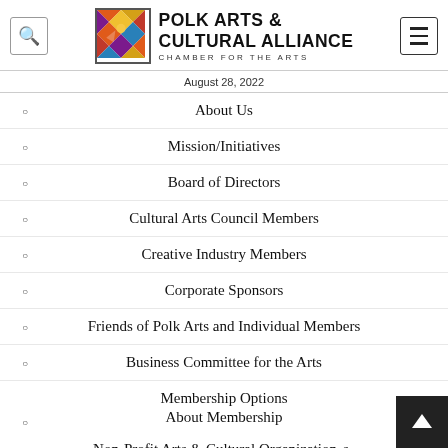POLK ARTS & CULTURAL ALLIANCE — CHAMBER FOR THE ARTS — August 28, 2022
About Us
Mission/Initiatives
Board of Directors
Cultural Arts Council Members
Creative Industry Members
Corporate Sponsors
Friends of Polk Arts and Individual Members
Business Committee for the Arts
Membership Options
About Membership
Non-Profit Arts & Cultural Organizations